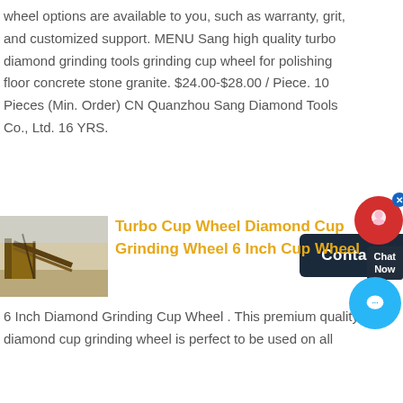wheel options are available to you, such as warranty, grit, and customized support. MENU Sang high quality turbo diamond grinding tools grinding cup wheel for polishing floor concrete stone granite. $24.00-$28.00 / Piece. 10 Pieces (Min. Order) CN Quanzhou Sang Diamond Tools Co., Ltd. 16 YRS.
[Figure (photo): Photo of industrial machinery / mining or quarry equipment in a desert/sandy setting]
Turbo Cup Wheel Diamond Cup Grinding Wheel 6 Inch Cup Wheel
6 Inch Diamond Grinding Cup Wheel . This premium quality diamond cup grinding wheel is perfect to be used on all